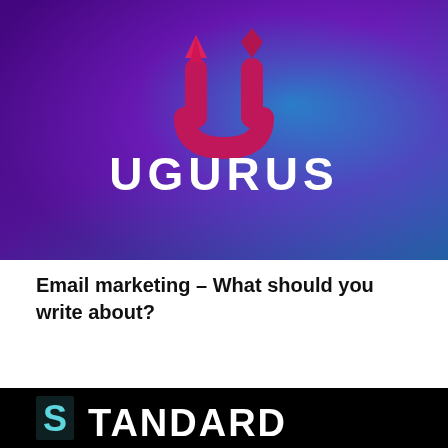[Figure (logo): Ugurus logo on a purple-to-teal gradient background. A stylized U icon in magenta/pink with an arrow-like top, above the text UGURUS in large white sans-serif letters.]
Email marketing – What should you write about?
[Figure (logo): Partial view of a logo on black background: a cyan/light-blue S in a square bracket, followed by large white text TANDARD (partial, cut off at bottom of page).]